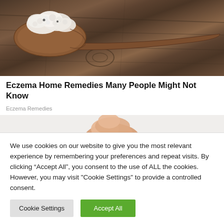[Figure (photo): Cottage cheese on a wooden spoon resting on a rustic wood surface]
Eczema Home Remedies Many People Might Not Know
Eczema Remedies
[Figure (photo): Partial image of a hand with skin condition on light grey background]
We use cookies on our website to give you the most relevant experience by remembering your preferences and repeat visits. By clicking “Accept All”, you consent to the use of ALL the cookies. However, you may visit "Cookie Settings" to provide a controlled consent.